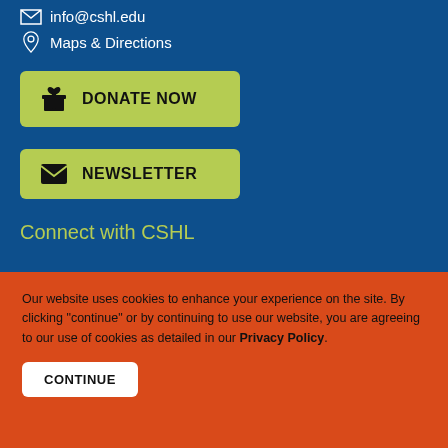info@cshl.edu
Maps & Directions
DONATE NOW
NEWSLETTER
Connect with CSHL
Our website uses cookies to enhance your experience on the site. By clicking "continue" or by continuing to use our website, you are agreeing to our use of cookies as detailed in our Privacy Policy.
CONTINUE